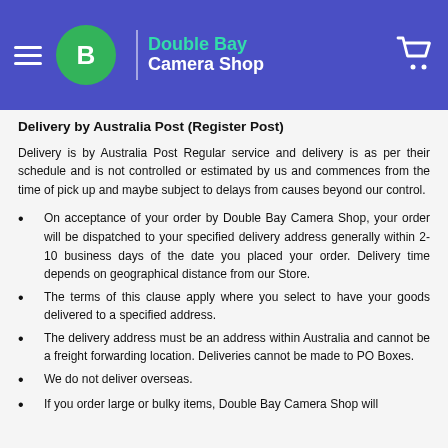Double Bay Camera Shop
Delivery by Australia Post (Register Post)
Delivery is by Australia Post Regular service and delivery is as per their schedule and is not controlled or estimated by us and commences from the time of pick up and maybe subject to delays from causes beyond our control.
On acceptance of your order by Double Bay Camera Shop, your order will be dispatched to your specified delivery address generally within 2-10 business days of the date you placed your order. Delivery time depends on geographical distance from our Store.
The terms of this clause apply where you select to have your goods delivered to a specified address.
The delivery address must be an address within Australia and cannot be a freight forwarding location. Deliveries cannot be made to PO Boxes.
We do not deliver overseas.
If you order large or bulky items, Double Bay Camera Shop will